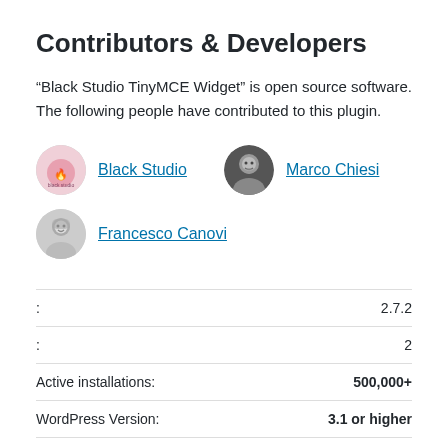Contributors & Developers
“Black Studio TinyMCE Widget” is open source software. The following people have contributed to this plugin.
Black Studio | Marco Chiesi | Francesco Canovi
|  |  |
| --- | --- |
| :  | 2.7.2 |
| :  | 2 |
| Active installations: | 500,000+ |
| WordPress Version: | 3.1 or higher |
| Tested up to: | 6.01 |